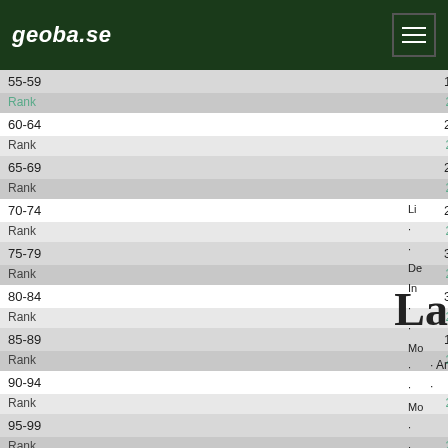geoba.se
| Age | Total | Male | Female |
| --- | --- | --- | --- |
| 55-59 | 197 | 99 | 98 |
| Rank | 228 | 228 | 228 |
| 60-64 | 203 | 110 | 93 |
| Rank | 228 | 228 | 228 |
| 65-69 | 252 | 138 | 114 |
| Rank | 228 | 228 | 228 |
| 70-74 | 267 | 149 | 118 |
| Rank | 228 | 226 | 227 |
| 75-79 | 323 | 191 | 132 |
| Rank | 225 | 223 | 225 |
| 80-84 | 305 | 173 | 132 |
| Rank | 224 | 223 | 224 |
| 85-89 | 177 | 109 | 68 |
| Rank | 225 | 224 | 225 |
| 90-94 | 97 | 63 | 34 |
| Rank | 224 | 224 | 224 |
| 95-99 | 48 | 36 | 12 |
| Rank | 224 | 223 | 222 |
| 100+ | 19 | 16 | 3 |
| Rank | 219 | 218 | 217 |